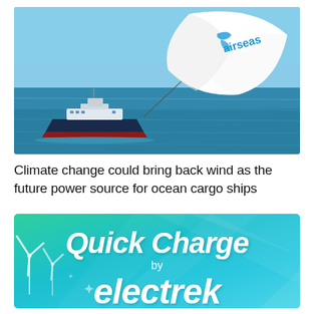[Figure (photo): A large blue ocean cargo ship sailing on calm blue water, with a large white kite-sail branded 'airseas' flying in the air above and ahead of the ship against a blue sky.]
Climate change could bring back wind as the future power source for ocean cargo ships
[Figure (logo): Quick Charge by electrek banner — teal/green gradient background with light rays, white italic bold text reading 'Quick Charge' on top, 'by' in smaller text below, and 'electrek' in large bold italic white text at the bottom. Wind turbines visible on the lower left.]